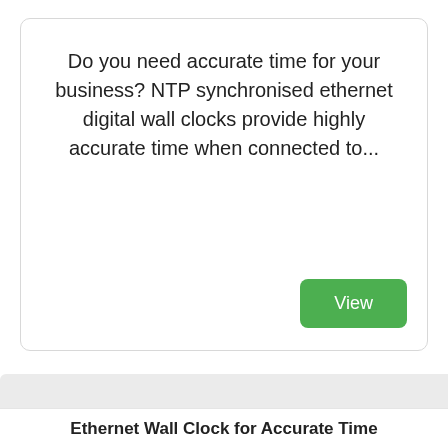Do you need accurate time for your business? NTP synchronised ethernet digital wall clocks provide highly accurate time when connected to...
[Figure (screenshot): Green 'View' button]
We use cookies to give you the best online experience, by continuing to use our website you agree to our use of cookies.
Cookie Policy
Got it!
Allow cookies
Ethernet Wall Clock for Accurate Time